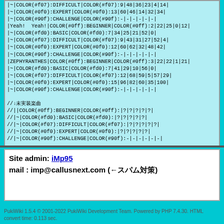|~|COLOR(#f07):DIFFICULT|COLOR(#f07):9|48|36|23|4|14|
|~|COLOR(#0f0):EXPERT|COLOR(#0f0):13|60|46|14|32|34|
|~|COLOR(#90f):CHALLENGE|COLOR(#90f):-|-|-|-|-|-|
|Yeah! Yeah!|COLOR(#0ff):BEGINNER|COLOR(#0ff):2|22|25|0|12|
|~|COLOR(#fd0):BASIC|COLOR(#fd0):7|34|25|21|52|0|
|~|COLOR(#f07):DIFFICULT|COLOR(#f07):9|43|31|27|52|4|
|~|COLOR(#0f0):EXPERT|COLOR(#0f0):12|60|62|32|48|42|
|~|COLOR(#90f):CHALLENGE|COLOR(#90f):-|-|-|-|-|-|
|ZEPHYRANTHES|COLOR(#0ff):BEGINNER|COLOR(#0ff):3|22|22|1|21|
|~|COLOR(#fd0):BASIC|COLOR(#fd0):7|41|29|10|56|0|
|~|COLOR(#f07):DIFFICULT|COLOR(#f07):12|68|59|5|57|29|
|~|COLOR(#0f0):EXPERT|COLOR(#0f0):15|96|82|60|35|100|
|~|COLOR(#90f):CHALLENGE|COLOR(#90f):-|-|-|-|-|-|

//↓未実装楽曲
//||COLOR(#0ff):BEGINNER|COLOR(#0ff):|?|?|?|?|?|
//|~|COLOR(#fd0):BASIC|COLOR(#fd0):|?|?|?|?|?|
//|~|COLOR(#f07):DIFFICULT|COLOR(#f07):|?|?|?|?|?|
//|~|COLOR(#0f0):EXPERT|COLOR(#0f0):|?|?|?|?|?|
//|~|COLOR(#90f):CHALLENGE|COLOR(#90f):-|-|-|-|-|-|
Site admin: iMp95
mail : imp@callusnext.com (←スパム対策)
PukiWiki 1.5.4 © 2001-2022 PukiWiki Development Team. Powered by PHP 7.4.30. HTML convert time: 0.113 sec.